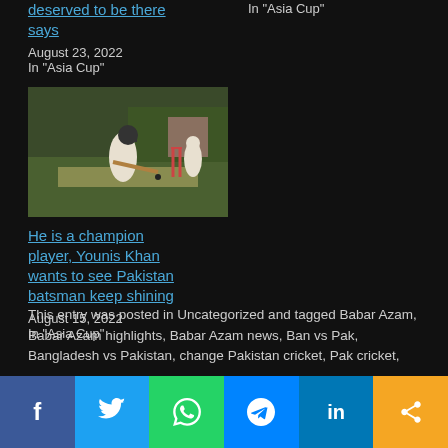deserved to be there says
August 23, 2022
In "Asia Cup"
In "Asia Cup"
[Figure (photo): Cricket player batting on a field, with another player and wickets visible in background]
He is a champion player, Younis Khan wants to see Pakistan batsman keep shining
August 15, 2022
In "Asia Cup"
This entry was posted in Uncategorized and tagged Babar Azam, Babar Azam highlights, Babar Azam news, Ban vs Pak, Bangladesh vs Pakistan, change Pakistan cricket, Pak cricket,
f  t  w  in  <